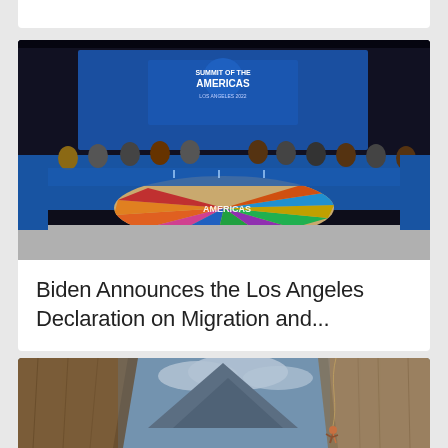[Figure (photo): Partial white card visible at top of page, cropped from above]
[Figure (photo): Summit of the Americas conference room with delegates seated around a large round table with colorful Americas logo centerpiece, blue backdrop with 'Summit of the Americas Los Angeles 2022' banner]
Biden Announces the Los Angeles Declaration on Migration and...
[Figure (photo): Rock climber ascending a steep rocky cliff face in a mountain canyon]